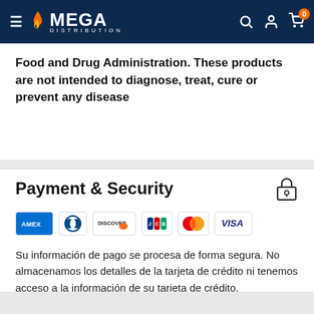MEGA DISTRIBUTION
Food and Drug Administration. These products are not intended to diagnose, treat, cure or prevent any disease
Payment & Security
[Figure (logo): Payment method logos: AMEX, Diners Club, Discover, JCB, Mastercard, Visa]
Su información de pago se procesa de forma segura. No almacenamos los detalles de la tarjeta de crédito ni tenemos acceso a la información de su tarjeta de crédito.